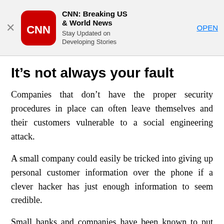[Figure (screenshot): CNN app banner advertisement with red rounded square CNN logo, app name 'CNN: Breaking US & World News', subtitle 'Stay Updated on Developing Stories', and an OPEN link button. A close (X) button is on the left.]
It’s not always your fault
Companies that don’t have the proper security procedures in place can often leave themselves and their customers vulnerable to a social engineering attack.
A small company could easily be tricked into giving up personal customer information over the phone if a clever hacker has just enough information to seem credible.
Small banks and companies have been known to put out member newsletters or even hold member appreciation events where it’s posted on social media